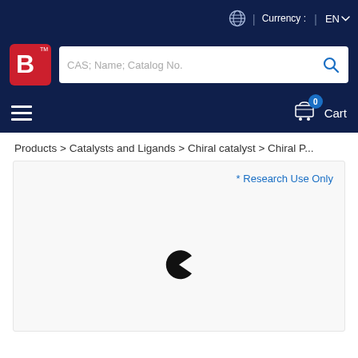Currency : | EN
[Figure (logo): B logo with TM mark in red box, search bar with placeholder 'CAS; Name; Catalog No.' and blue search icon]
[Figure (screenshot): Navigation bar with hamburger menu on left and cart with 0 items on right]
Products > Catalysts and Ligands > Chiral catalyst > Chiral P...
[Figure (screenshot): Product card area showing '* Research Use Only' label and a loading spinner icon in center]
* Research Use Only